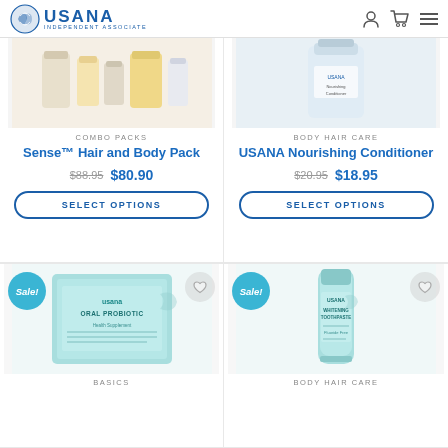USANA Independent Associate
[Figure (photo): Product image for Sense Hair and Body Pack combo]
COMBO PACKS
Sense™ Hair and Body Pack
$88.95  $80.90
SELECT OPTIONS
[Figure (photo): Product image for USANA Nourishing Conditioner]
BODY HAIR CARE
USANA Nourishing Conditioner
$20.95  $18.95
SELECT OPTIONS
[Figure (photo): USANA Oral Probiotic product box, teal/mint colored packaging with Sale badge]
Sale!
BASICS
[Figure (photo): USANA Whitening Toothpaste tube, teal/mint colored with Sale badge]
Sale!
BODY HAIR CARE